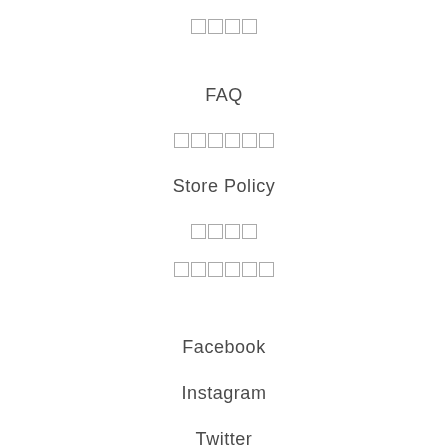????
FAQ
??????
Store Policy
????
??????
Facebook
Instagram
Twitter